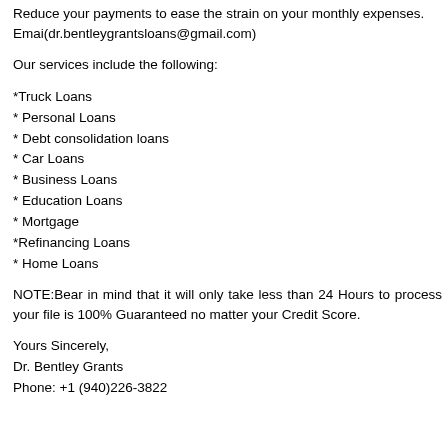Reduce your payments to ease the strain on your monthly expenses. Emai(dr.bentleygrantsloans@gmail.com)
Our services include the following:
*Truck Loans
* Personal Loans
* Debt consolidation loans
* Car Loans
* Business Loans
* Education Loans
* Mortgage
*Refinancing Loans
* Home Loans
NOTE:Bear in mind that it will only take less than 24 Hours to process your file is 100% Guaranteed no matter your Credit Score.
Yours Sincerely,
Dr. Bentley Grants
Phone: +1 (940)226-3822